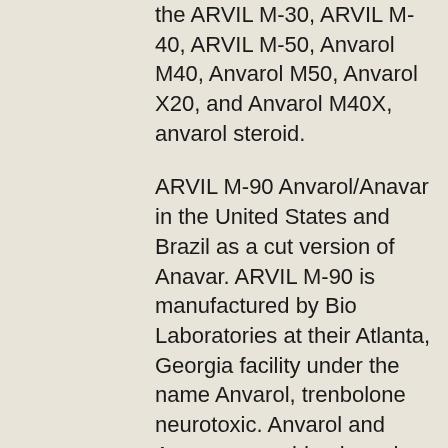the ARVIL M-30, ARVIL M-40, ARVIL M-50, Anvarol M40, Anvarol M50, Anvarol X20, and Anvarol M40X, anvarol steroid.
ARVIL M-90 Anvarol/Anavar in the United States and Brazil as a cut version of Anavar. ARVIL M-90 is manufactured by Bio Laboratories at their Atlanta, Georgia facility under the name Anvarol, trenbolone neurotoxic. Anvarol and Anavar are sold only under the name "Anavar" in both Brazil and the United States, and by the name "Anavar/Anvil" in Brazil.
ARVIL M-100 Anvarol/Anavar in the United States and Brazil as a cut version of Anavar, legal steroid for muscle growth.
ARMARMARMARMARMARMARMARMARMARMARMARMARMARMARMARMARMARMARMARMARMARMARMARMARMARMARMARMARMARMARMARMARMARMARMARMARMAR